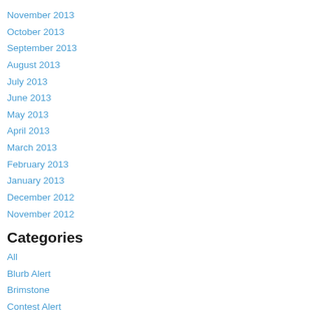November 2013
October 2013
September 2013
August 2013
July 2013
June 2013
May 2013
April 2013
March 2013
February 2013
January 2013
December 2012
November 2012
Categories
All
Blurb Alert
Brimstone
Contest Alert
Controversies
Cover Reveal